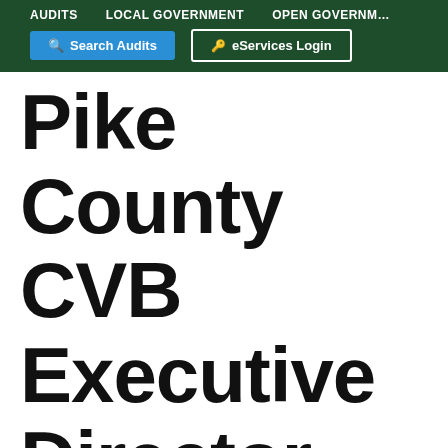AUDITS   LOCAL GOVERNMENT   OPEN GOVERNMENT
Search Audits | eServices Login
Pike County CVB Executive Director Pleads Guilt...